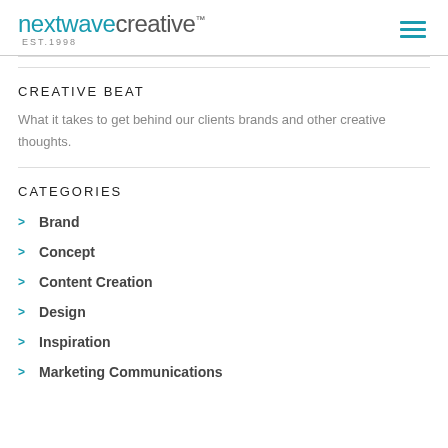nextwavecreative™ EST.1998
CREATIVE BEAT
What it takes to get behind our clients brands and other creative thoughts.
CATEGORIES
Brand
Concept
Content Creation
Design
Inspiration
Marketing Communications